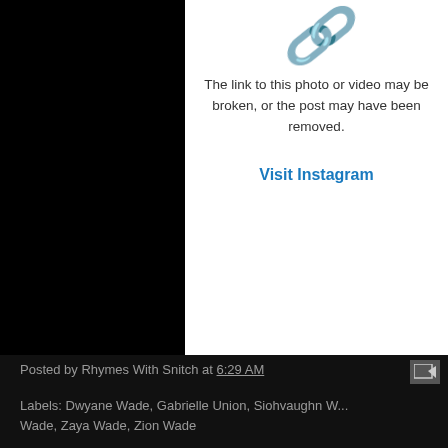[Figure (screenshot): Instagram broken link/embed placeholder showing a broken link icon and message: 'The link to this photo or video may be broken, or the post may have been removed.' with a 'Visit Instagram' link]
The link to this photo or video may be broken, or the post may have been removed.
Visit Instagram
Posted by Rhymes With Snitch at 6:29 AM
Labels: Dwyane Wade, Gabrielle Union, Siohvaughn Wade, Zaya Wade, Zion Wade